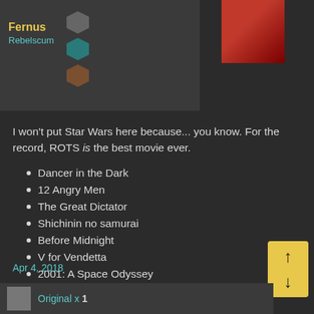Fernus
Rebelscum
I won't put Star Wars here because... you know. For the record, ROTS is the best movie ever.
Dancer in the Dark
12 Angry Men
The Great Dictator
Shichinin no samurai
Before Midnight
V for Vendetta
2001: A Space Odyssey
Planet of the Apes
Galaxy Quest
Hollywood Ending
Apr 4, 2018
Original x 1